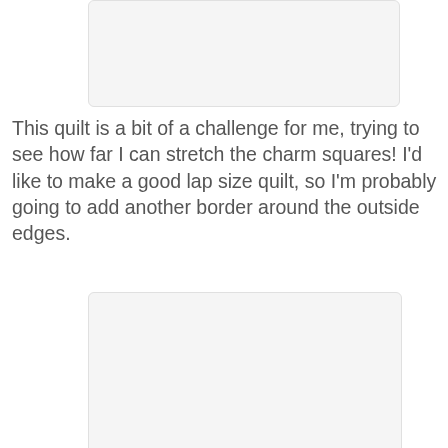[Figure (photo): A quilt or fabric image, partially visible at top of page]
This quilt is a bit of a challenge for me, trying to see how far I can stretch the charm squares!  I'd like to make a good lap size quilt, so I'm probably going to add another border around the outside edges.
[Figure (photo): A quilt layout or fabric arrangement photograph]
After I decided to use the painter's canvas as a border, rather than in between the butterflies, I had a lot of space to fill up!  I opted for low volume gray and white prints rather than just using solids.  It adds a lot more interest than the solid gray and I love it! It's a little less with the butterflies, but it's...